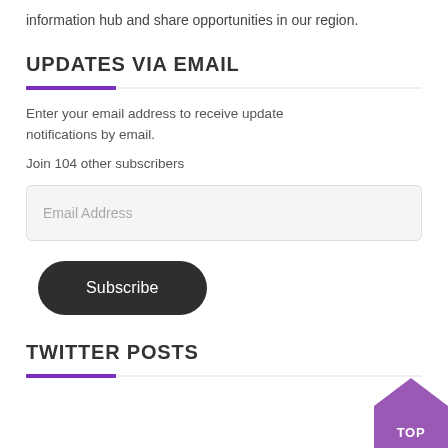information hub and share opportunities in our region.
UPDATES VIA EMAIL
Enter your email address to receive update notifications by email.
Join 104 other subscribers
[Figure (screenshot): Email address input field with placeholder text 'Email Address']
[Figure (screenshot): Subscribe button, dark rounded pill shape]
TWITTER POSTS
[Figure (illustration): Purple 'TOP' back-to-top button in bottom right corner]